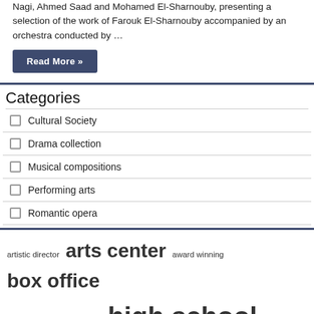Nagi, Ahmed Saad and Mohamed El-Sharnouby, presenting a selection of the work of Farouk El-Sharnouby accompanied by an orchestra conducted by …
Read More »
Categories
Cultural Society
Drama collection
Musical compositions
Performing arts
Romantic opera
artistic director arts center award winning box office classical music due covid high school los angeles office collection opera house performing arts rs crore school music symphony orchestra united states